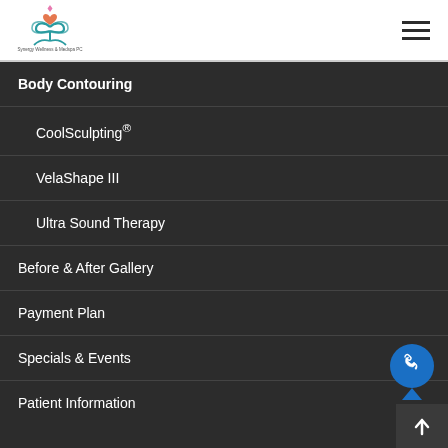[Figure (logo): Synergy Wellness & Medspa PC lotus/heart logo with teal and orange colors]
Body Contouring
CoolSculpting®
VelaShape III
Ultra Sound Therapy
Before & After Gallery
Payment Plan
Specials & Events
Patient Information